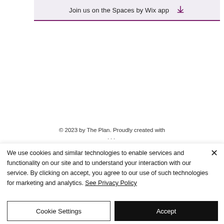[Figure (other): Banner button with text 'Join us on the Spaces by Wix app' with a download icon and purple underline]
© 2023 by The Plan. Proudly created with Wix
We use cookies and similar technologies to enable services and functionality on our site and to understand your interaction with our service. By clicking on accept, you agree to our use of such technologies for marketing and analytics. See Privacy Policy
Cookie Settings
Accept